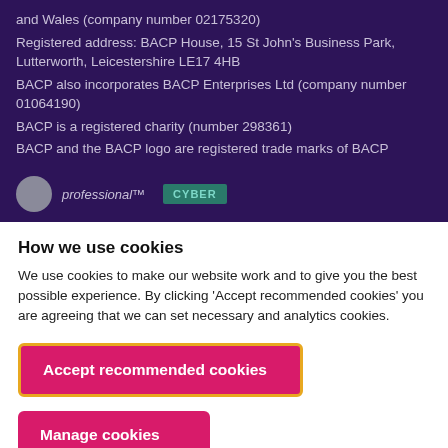and Wales (company number 02175320) Registered address: BACP House, 15 St John's Business Park, Lutterworth, Leicestershire LE17 4HB BACP also incorporates BACP Enterprises Ltd (company number 01064190) BACP is a registered charity (number 298361) BACP and the BACP logo are registered trade marks of BACP
[Figure (logo): Professional indemnity logo circle and text, plus CYBER badge]
How we use cookies
We use cookies to make our website work and to give you the best possible experience. By clicking 'Accept recommended cookies' you are agreeing that we can set necessary and analytics cookies.
Accept recommended cookies
Manage cookies